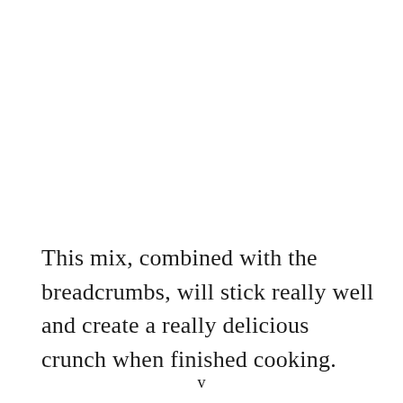This mix, combined with the breadcrumbs, will stick really well and create a really delicious crunch when finished cooking.
v